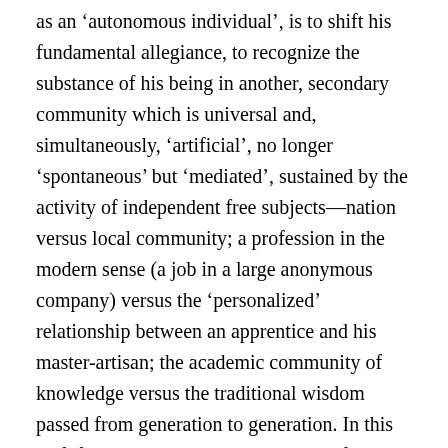as an 'autonomous individual', is to shift his fundamental allegiance, to recognize the substance of his being in another, secondary community which is universal and, simultaneously, 'artificial', no longer 'spontaneous' but 'mediated', sustained by the activity of independent free subjects—nation versus local community; a profession in the modern sense (a job in a large anonymous company) versus the 'personalized' relationship between an apprentice and his master-artisan; the academic community of knowledge versus the traditional wisdom passed from generation to generation. In this shift from primary to secondary identification, primary identifications undergo a kind of transubstantiation: they start to function as the form of appearance of the universal secondary identification —say, precisely by being a good member of my family, I